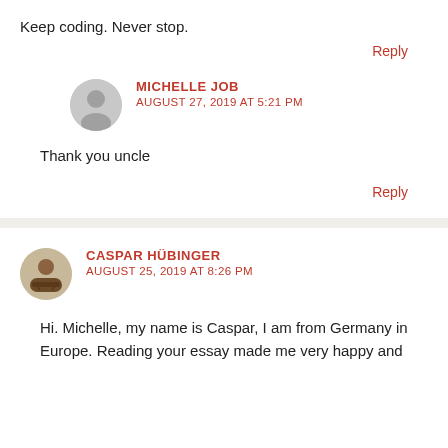Keep coding. Never stop.
Reply
MICHELLE JOB
AUGUST 27, 2019 AT 5:21 PM
Thank you uncle
Reply
CASPAR HÜBINGER
AUGUST 25, 2019 AT 8:26 PM
Hi. Michelle, my name is Caspar, I am from Germany in Europe. Reading your essay made me very happy and